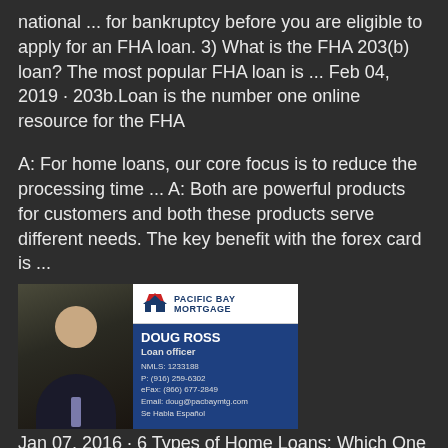national ... for bankruptcy before you are eligible to apply for an FHA loan. 3) What is the FHA 203(b) loan? The most popular FHA loan is ... Feb 04, 2019 · 203b.Loan is the number one online resource for the FHA
A: For home loans, our core focus is to reduce the processing time ... A: Both are powerful products for customers and both these products serve different needs. The key benefit with the forex card is ...
[Figure (photo): Business card for Doug Ross, Loan Officer at Pacific Bay Mortgage. Shows a photo of a bald man in a suit on the left, and on the right: Pacific Bay Mortgage logo (house with red roof), name DOUG ROSS, title Loan officer, NMLS: 1233188, P: (916) 259-6302, eFax: (866) 677-2849, Email: doug@pacbaymtg.com, Se Habla Español]
Jan 07, 2016 · 6 Types of Home Loans: Which One Is Right for You? Fixed-rate loan. The most common type of loan, a fixed-rate loan prescribes a single interest ... adjustable-rate